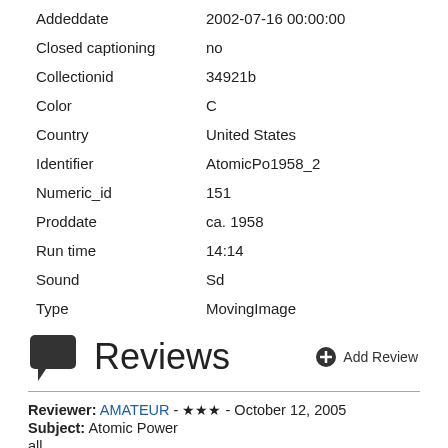| Addeddate | 2002-07-16 00:00:00 |
| Closed captioning | no |
| Collectionid | 34921b |
| Color | C |
| Country | United States |
| Identifier | AtomicPo1958_2 |
| Numeric_id | 151 |
| Proddate | ca. 1958 |
| Run time | 14:14 |
| Sound | Sd |
| Type | MovingImage |
Reviews
Reviewer: AMATEUR - ★★★ - October 12, 2005
Subject: Atomic Power
all
Reviewer: Visual16 - ★★★★ - October 20, 2004